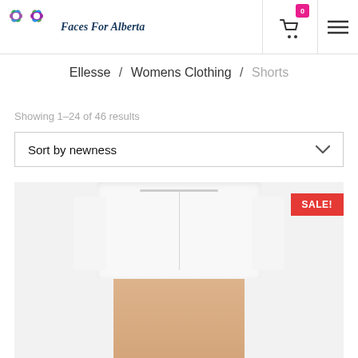[Figure (logo): Faces For Alberta logo with colorful flower icons and italic serif text]
Ellesse / Womens Clothing / Shorts
Showing 1–24 of 46 results
Sort by newness
[Figure (photo): Woman wearing white Ellesse shorts on light grey background, with a red SALE! badge in the top right corner]